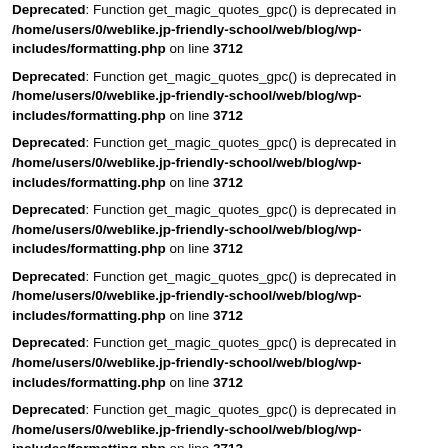Deprecated: Function get_magic_quotes_gpc() is deprecated in /home/users/0/weblike.jp-friendly-school/web/blog/wp-includes/formatting.php on line 3712
Deprecated: Function get_magic_quotes_gpc() is deprecated in /home/users/0/weblike.jp-friendly-school/web/blog/wp-includes/formatting.php on line 3712
Deprecated: Function get_magic_quotes_gpc() is deprecated in /home/users/0/weblike.jp-friendly-school/web/blog/wp-includes/formatting.php on line 3712
Deprecated: Function get_magic_quotes_gpc() is deprecated in /home/users/0/weblike.jp-friendly-school/web/blog/wp-includes/formatting.php on line 3712
Deprecated: Function get_magic_quotes_gpc() is deprecated in /home/users/0/weblike.jp-friendly-school/web/blog/wp-includes/formatting.php on line 3712
Deprecated: Function get_magic_quotes_gpc() is deprecated in /home/users/0/weblike.jp-friendly-school/web/blog/wp-includes/formatting.php on line 3712
Deprecated: Function get_magic_quotes_gpc() is deprecated in /home/users/0/weblike.jp-friendly-school/web/blog/wp-includes/formatting.php on line 3712 (partial)